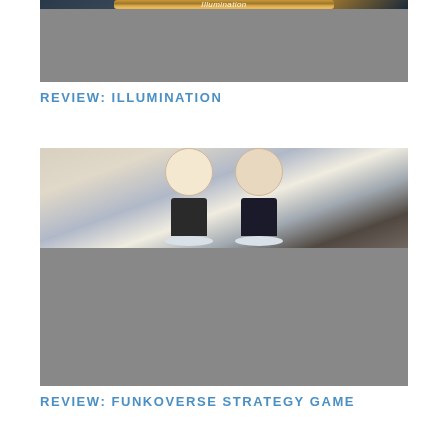[Figure (photo): Photo of the Illumination board game box on a dark surface, showing decorative golden swirling patterns on a brown box with the word 'Illumination' visible]
REVIEW: ILLUMINATION
[Figure (photo): Photo of two Funko Pop vinyl figures — Hermione Granger and Harry Potter — standing on a board game mat, holding wands, with game cards visible in the background]
REVIEW: FUNKOVERSE STRATEGY GAME